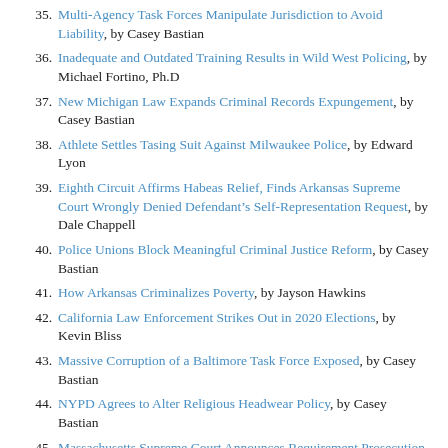35. Multi-Agency Task Forces Manipulate Jurisdiction to Avoid Liability, by Casey Bastian
36. Inadequate and Outdated Training Results in Wild West Policing, by Michael Fortino, Ph.D
37. New Michigan Law Expands Criminal Records Expungement, by Casey Bastian
38. Athlete Settles Tasing Suit Against Milwaukee Police, by Edward Lyon
39. Eighth Circuit Affirms Habeas Relief, Finds Arkansas Supreme Court Wrongly Denied Defendant’s Self-Representation Request, by Dale Chappell
40. Police Unions Block Meaningful Criminal Justice Reform, by Casey Bastian
41. How Arkansas Criminalizes Poverty, by Jayson Hawkins
42. California Law Enforcement Strikes Out in 2020 Elections, by Kevin Bliss
43. Massive Corruption of a Baltimore Task Force Exposed, by Casey Bastian
44. NYPD Agrees to Alter Religious Headwear Policy, by Casey Bastian
45. Massachusetts Supreme Court Announces Requirement Prosecution Prove Defendant Knew Firearm Was Loaded Applies